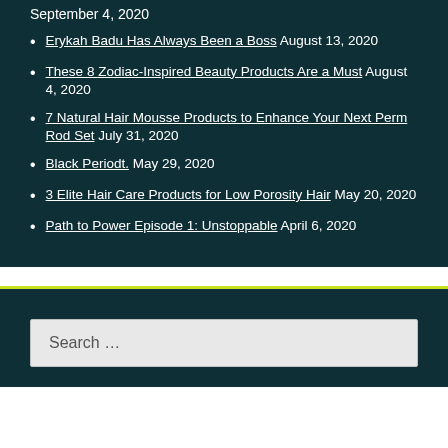September 4, 2020
Erykah Badu Has Always Been a Boss August 13, 2020
These 8 Zodiac-Inspired Beauty Products Are a Must August 4, 2020
7 Natural Hair Mousse Products to Enhance Your Next Perm Rod Set July 31, 2020
Black Periodt. May 29, 2020
3 Elite Hair Care Products for Low Porosity Hair May 20, 2020
Path to Power Episode 1: Unstoppable April 6, 2020
Search …